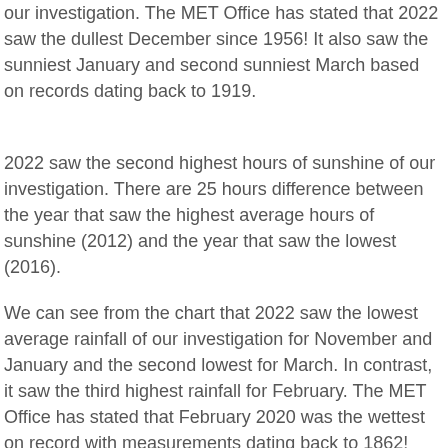our investigation. The MET Office has stated that 2022 saw the dullest December since 1956! It also saw the sunniest January and second sunniest March based on records dating back to 1919.
2022 saw the second highest hours of sunshine of our investigation. There are 25 hours difference between the year that saw the highest average hours of sunshine (2012) and the year that saw the lowest (2016).
We can see from the chart that 2022 saw the lowest average rainfall of our investigation for November and January and the second lowest for March. In contrast, it saw the third highest rainfall for February. The MET Office has stated that February 2020 was the wettest on record with measurements dating back to 1862!